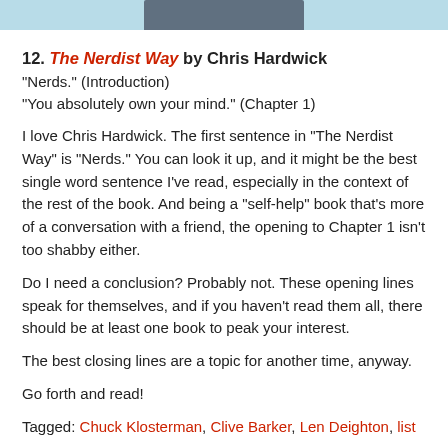[Figure (photo): Partial photo of a person at the top of the page, cropped]
12. The Nerdist Way by Chris Hardwick
"Nerds." (Introduction)
"You absolutely own your mind." (Chapter 1)
I love Chris Hardwick. The first sentence in “The Nerdist Way” is “Nerds.” You can look it up, and it might be the best single word sentence I’ve read, especially in the context of the rest of the book. And being a “self-help” book that’s more of a conversation with a friend, the opening to Chapter 1 isn’t too shabby either.
Do I need a conclusion? Probably not. These opening lines speak for themselves, and if you haven’t read them all, there should be at least one book to peak your interest.
The best closing lines are a topic for another time, anyway.
Go forth and read!
Tagged: Chuck Klosterman, Clive Barker, Len Deighton, list